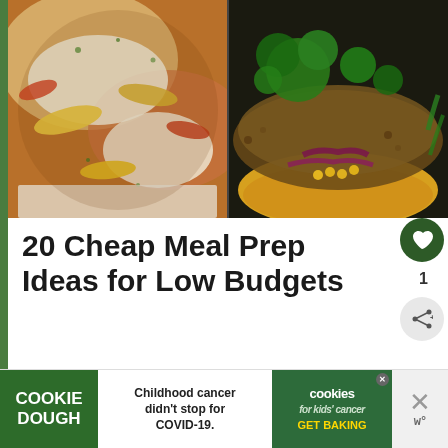[Figure (photo): Two food photos side by side: left shows baked chicken with melted cheese and colorful peppers in a white dish; right shows a grain salad with broccoli, lentils, red onion, and yellow rice on a dark background.]
20 Cheap Meal Prep Ideas for Low Budgets
Are you on a tight budget? One of
[Figure (other): Advertisement banner: Cookie Dough green logo on left, center text 'Childhood cancer didn't stop for COVID-19.', right section shows cookies for kids cancer logo with 'GET BAKING' call to action, and a dismiss button on far right.]